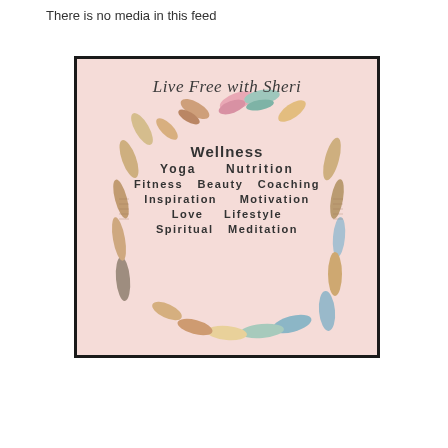There is no media in this feed
[Figure (logo): Live Free with Sheri logo: a circular wreath made of colorful bohemian feathers on a pink background, with the text 'Live Free with Sheri' in script at the top and keywords Wellness, Yoga, Nutrition, Fitness, Beauty, Coaching, Inspiration, Motivation, Love, Lifestyle, Meditation, Spiritual arranged in the center.]